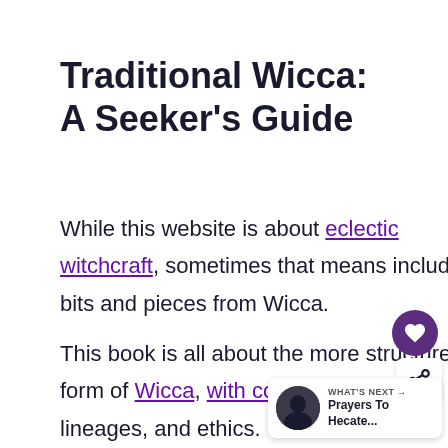Traditional Wicca: A Seeker's Guide
While this website is about eclectic witchcraft, sometimes that means including bits and pieces from Wicca.
This book is all about the more structured form of Wicca, with covens, initiations, lineages, and ethics.